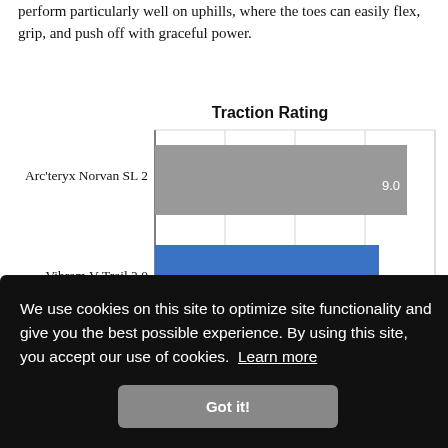perform particularly well on uphills, where the toes can easily flex, grip, and push off with graceful power.
[Figure (bar-chart): Traction Rating]
We use cookies on this site to optimize site functionality and give you the best possible experience. By using this site, you accept our use of cookies. Learn more